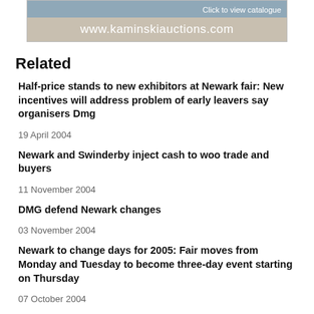[Figure (screenshot): Advertisement banner for kaminskiauctions.com with 'Click to view catalogue' button and website URL]
Related
Half-price stands to new exhibitors at Newark fair: New incentives will address problem of early leavers say organisers Dmg
19 April 2004
Newark and Swinderby inject cash to woo trade and buyers
11 November 2004
DMG defend Newark changes
03 November 2004
Newark to change days for 2005: Fair moves from Monday and Tuesday to become three-day event starting on Thursday
07 October 2004
Swinderby goes it alone, a week before Newark